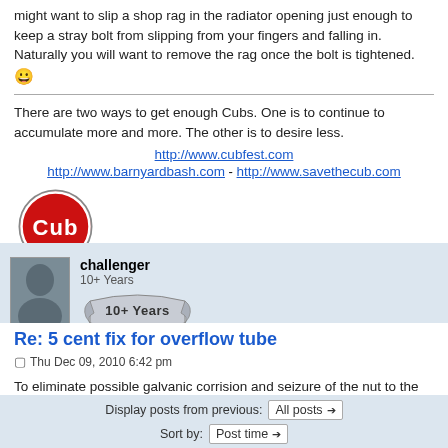might want to slip a shop rag in the radiator opening just enough to keep a stray bolt from slipping from your fingers and falling in. Naturally you will want to remove the rag once the bolt is tightened. 😀
There are two ways to get enough Cubs. One is to continue to accumulate more and more. The other is to desire less.
http://www.cubfest.com
http://www.barnyardbash.com - http://www.savethecub.com
[Figure (logo): Round red Cub tractor logo badge with white 'Cub' text]
challenger
10+ Years
[Figure (illustration): 10+ Years ribbon/badge graphic]
Re: 5 cent fix for overflow tube
Thu Dec 09, 2010 6:42 pm
To eliminate possible galvanic corrision and seizure of the nut to the bolt, I suggest using a brass bolt and a brass nut.
Display posts from previous: All posts
Sort by: Post time